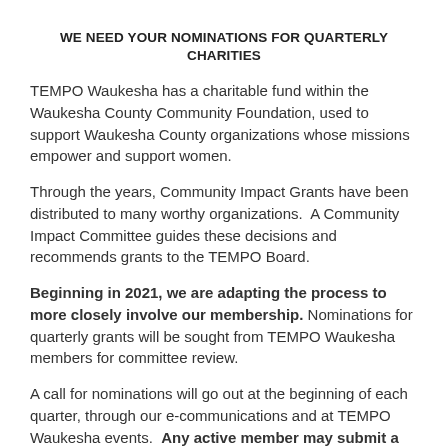WE NEED YOUR NOMINATIONS FOR QUARTERLY CHARITIES
TEMPO Waukesha has a charitable fund within the Waukesha County Community Foundation, used to support Waukesha County organizations whose missions empower and support women.
Through the years, Community Impact Grants have been distributed to many worthy organizations.  A Community Impact Committee guides these decisions and recommends grants to the TEMPO Board.
Beginning in 2021, we are adapting the process to more closely involve our membership. Nominations for quarterly grants will be sought from TEMPO Waukesha members for committee review.
A call for nominations will go out at the beginning of each quarter, through our e-communications and at TEMPO Waukesha events.  Any active member may submit a charitable